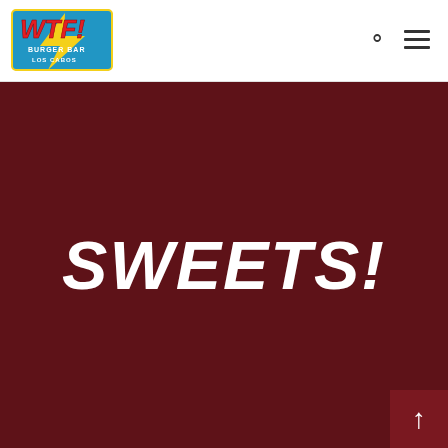[Figure (logo): WTF Burger Bar Los Cabos logo — comic-book style with bold red 'WTF!' lettering on a blue/yellow background with a burger graphic]
SWEETS!
[Figure (other): Back-to-top arrow button in dark red square at bottom-right corner]